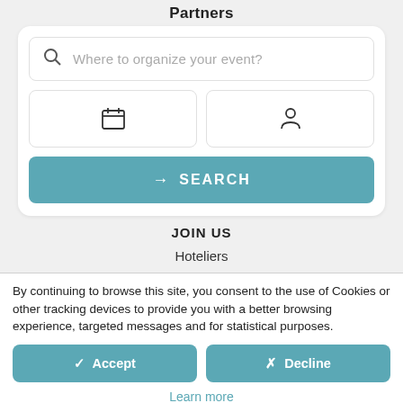Partners
[Figure (screenshot): Search widget with location input, calendar icon box, person icon box, and a teal SEARCH button]
JOIN US
Hoteliers
By continuing to browse this site, you consent to the use of Cookies or other tracking devices to provide you with a better browsing experience, targeted messages and for statistical purposes.
✓ Accept
✗ Decline
Learn more